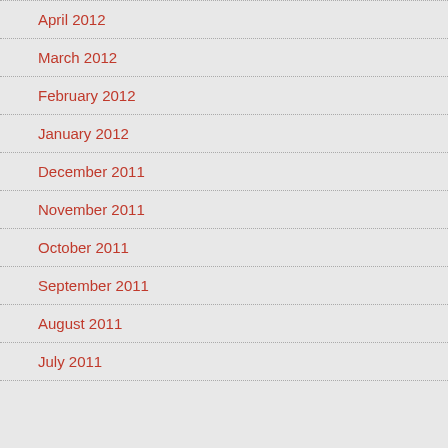April 2012
March 2012
February 2012
January 2012
December 2011
November 2011
October 2011
September 2011
August 2011
July 2011